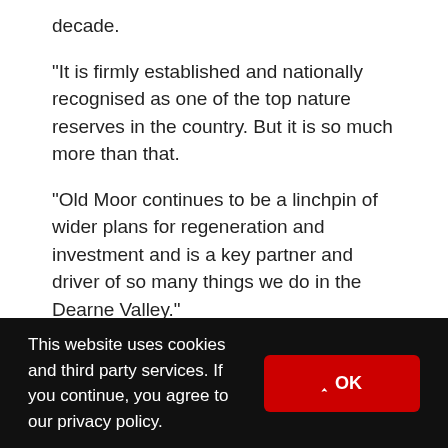decade.
“It is firmly established and nationally recognised as one of the top nature reserves in the country. But it is so much more than that.
“Old Moor continues to be a linchpin of wider plans for regeneration and investment and is a key partner and driver of so many things we do in the Dearne Valley.”
The RSPB took over management of Old Moor – a former Barnsley local authority site, known as the
This website uses cookies and third party services. If you continue, you agree to our privacy policy.